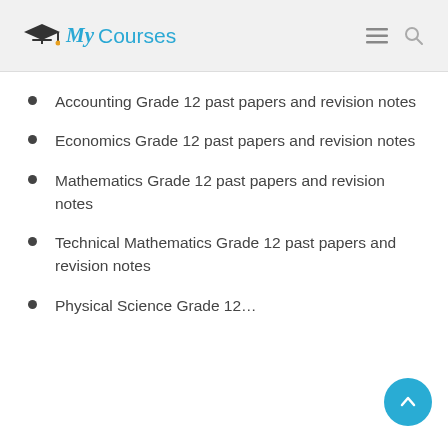My Courses
Accounting Grade 12 past papers and revision notes
Economics Grade 12 past papers and revision notes
Mathematics Grade 12 past papers and revision notes
Technical Mathematics Grade 12 past papers and revision notes
Physical Science Grade 12…